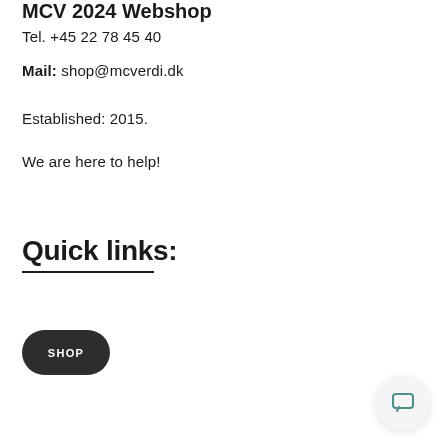MCV 2024 Webshop
Tel. +45 22 78 45 40
Mail: shop@mcverdi.dk
Established: 2015.
We are here to help!
Quick links:
SHOP
[Figure (other): Chat button widget in bottom right corner]